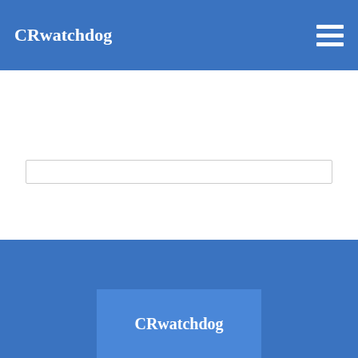CRwatchdog
[Figure (screenshot): Search input bar]
1  2  3  ...  22  NEXT PAGE »
CRwatchdog